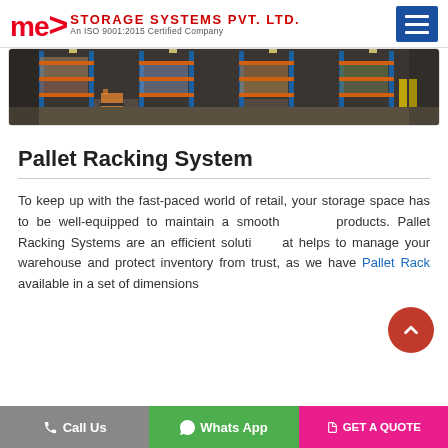MEX STORAGE SYSTEMS PVT. LTD. — An ISO 9001:2015 Certified Company
[Figure (photo): Warehouse interior showing industrial pallet racking systems with blue vertical columns, orange horizontal beams, and shelves stocked with various goods. Forklifts visible in the aisle.]
Pallet Racking System
To keep up with the fast-paced world of retail, your storage space has to be well-equipped to maintain a smooth flow of products. Pallet Racking Systems are an efficient solution that helps to manage your warehouse and protect inventory from trust, as we have Pallet Rack available in a set of dimensions
Call Us | Whats App | GET A QUOTE